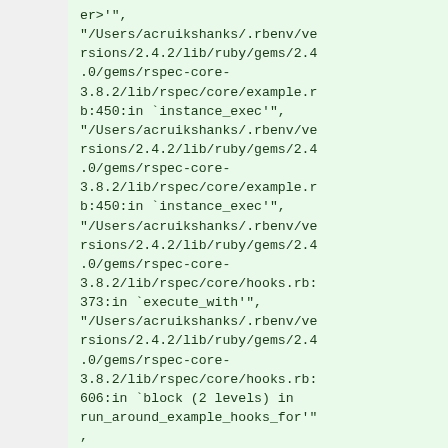er>'",
"/Users/acruikshanks/.rbenv/versions/2.4.2/lib/ruby/gems/2.4.0/gems/rspec-core-3.8.2/lib/rspec/core/example.rb:450:in `instance_exec'",
"/Users/acruikshanks/.rbenv/versions/2.4.2/lib/ruby/gems/2.4.0/gems/rspec-core-3.8.2/lib/rspec/core/example.rb:450:in `instance_exec'",
"/Users/acruikshanks/.rbenv/versions/2.4.2/lib/ruby/gems/2.4.0/gems/rspec-core-3.8.2/lib/rspec/core/hooks.rb:373:in `execute_with'",
"/Users/acruikshanks/.rbenv/versions/2.4.2/lib/ruby/gems/2.4.0/gems/rspec-core-3.8.2/lib/rspec/core/hooks.rb:606:in `block (2 levels) in run_around_example_hooks_for'" ,